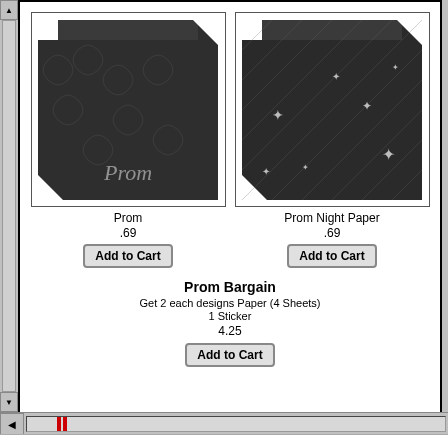[Figure (photo): Dark decorative scrapbook paper with swirl pattern labeled Prom in script]
Prom
.69
[Figure (photo): Dark scrapbook paper with diagonal lines and star/sparkle pattern, multiple sheets fanned]
Prom Night Paper
.69
Prom Bargain
Get 2 each designs Paper (4 Sheets)
1 Sticker
4.25